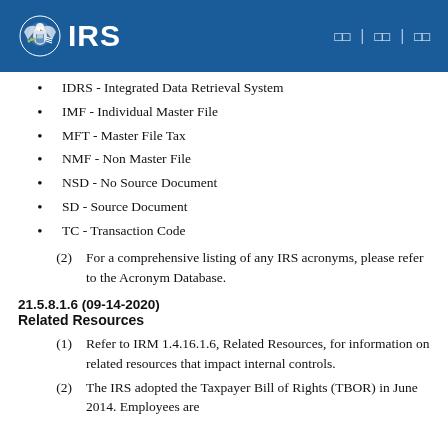IRS | [nav links]
IDRS - Integrated Data Retrieval System
IMF - Individual Master File
MFT - Master File Tax
NMF - Non Master File
NSD - No Source Document
SD - Source Document
TC - Transaction Code
(2) For a comprehensive listing of any IRS acronyms, please refer to the Acronym Database.
21.5.8.1.6 (09-14-2020)
Related Resources
(1) Refer to IRM 1.4.16.1.6, Related Resources, for information on related resources that impact internal controls.
(2) The IRS adopted the Taxpayer Bill of Rights (TBOR) in June 2014. Employees are